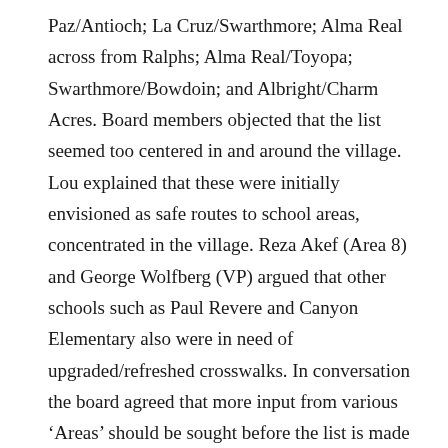Paz/Antioch; La Cruz/Swarthmore; Alma Real across from Ralphs; Alma Real/Toyopa; Swarthmore/Bowdoin; and Albright/Charm Acres. Board members objected that the list seemed too centered in and around the village. Lou explained that these were initially envisioned as safe routes to school areas, concentrated in the village. Reza Akef (Area 8) and George Wolfberg (VP) argued that other schools such as Paul Revere and Canyon Elementary also were in need of upgraded/refreshed crosswalks. In conversation the board agreed that more input from various ‘Areas’ should be sought before the list is made final. The sense of the board was that the list was too focused on the village and needed more community-wide input/scope to better represent the needs of the